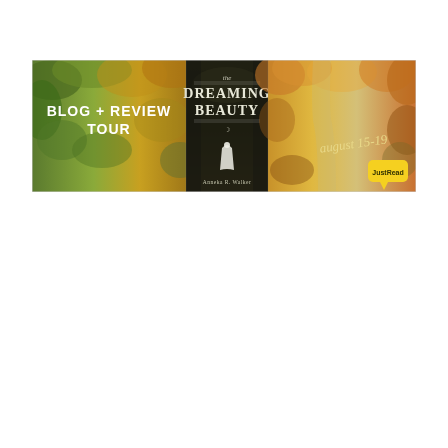[Figure (illustration): Blog + Review Tour banner for 'The Dreaming Beauty' by Anneka R. Walker. The banner is divided into three panels: left panel shows autumnal forest with green and gold foliage with white bold text reading 'BLOG + REVIEW TOUR'; center panel shows the book cover with dark forest background, a woman in a white dress, and the title 'THE DREAMING BEAUTY' with author name 'Anneka R. Walker'; right panel shows an autumn tree-lined path with cursive text 'august 15-19' and a yellow speech-bubble logo reading 'JustRead'.]